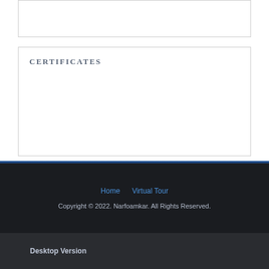CERTIFICATES
Home   Virtual Tour
Copyright © 2022. Narfoamkar. All Rights Reserved.
Desktop Version